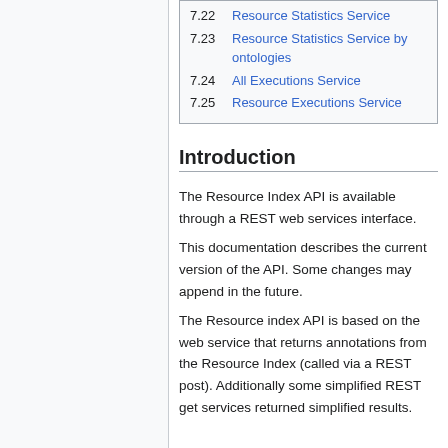7.22 Resource Statistics Service
7.23 Resource Statistics Service by ontologies
7.24 All Executions Service
7.25 Resource Executions Service
Introduction
The Resource Index API is available through a REST web services interface.
This documentation describes the current version of the API. Some changes may append in the future.
The Resource index API is based on the web service that returns annotations from the Resource Index (called via a REST post). Additionally some simplified REST get services returned simplified results.